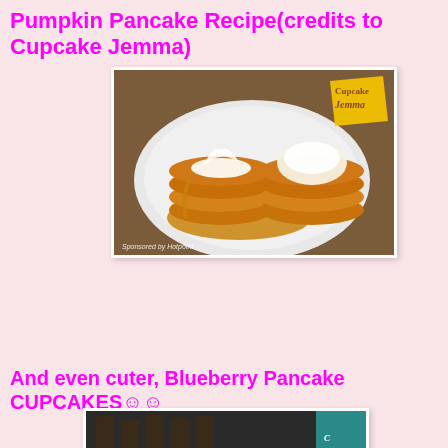Pumpkin Pancake Recipe(credits to Cupcake Jemma)
[Figure (photo): Stack of pumpkin pancakes on a white plate with cream and maple syrup, Cupcake Jemma branding in top right corner, sponsored by Hotpoint watermark]
And even cuter, Blueberry Pancake CUPCAKES☺☺
[Figure (photo): Partial view of blueberry pancake cupcakes with Cupcake Jemma branding]